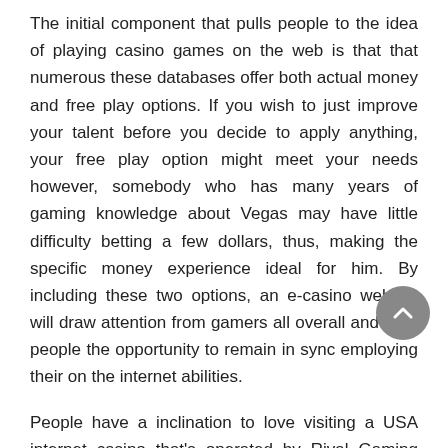The initial component that pulls people to the idea of playing casino games on the web is that that numerous these databases offer both actual money and free play options. If you wish to just improve your talent before you decide to apply anything, your free play option might meet your needs however, somebody who has many years of gaming knowledge about Vegas may have little difficulty betting a few dollars, thus, making the specific money experience ideal for him. By including these two options, an e-casino website will draw attention from gamers all overall and offer people the opportunity to remain in sync employing their on the internet abilities.
People have a inclination to love visiting a USA internet casino that's operated by Rival Gaming Software as this method features a inclination to embrace greater than 80 unique kinds of casino games which are highly interactive. With the aid of a